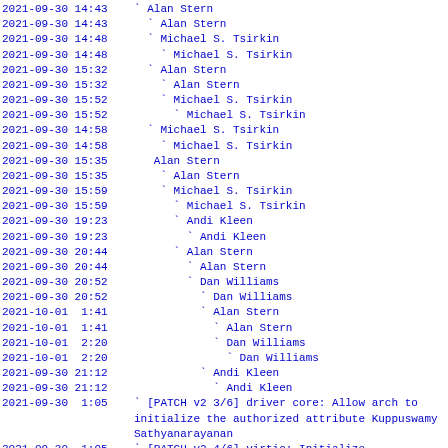| Timestamp | Author/Thread |
| --- | --- |
| 2021-09-30 14:43 | ` Alan Stern |
| 2021-09-30 14:43 |   ` Alan Stern |
| 2021-09-30 14:48 |   ` Michael S. Tsirkin |
| 2021-09-30 14:48 |     ` Michael S. Tsirkin |
| 2021-09-30 15:32 |   ` Alan Stern |
| 2021-09-30 15:32 |     ` Alan Stern |
| 2021-09-30 15:32 |     ` Michael S. Tsirkin |
| 2021-09-30 15:52 |       ` Michael S. Tsirkin |
| 2021-09-30 14:58 |   ` Michael S. Tsirkin |
| 2021-09-30 14:58 |     ` Michael S. Tsirkin |
| 2021-09-30 15:35 |   ` Alan Stern |
| 2021-09-30 15:35 |     ` Alan Stern |
| 2021-09-30 15:59 |     ` Michael S. Tsirkin |
| 2021-09-30 15:59 |       ` Michael S. Tsirkin |
| 2021-09-30 19:23 |       ` Andi Kleen |
| 2021-09-30 19:23 |         ` Andi Kleen |
| 2021-09-30 20:44 |       ` Alan Stern |
| 2021-09-30 20:44 |         ` Alan Stern |
| 2021-09-30 20:52 |         ` Dan Williams |
| 2021-09-30 20:52 |           ` Dan Williams |
| 2021-10-01  1:41 |           ` Alan Stern |
| 2021-10-01  1:41 |             ` Alan Stern |
| 2021-10-01  2:20 |             ` Dan Williams |
| 2021-10-01  2:20 |               ` Dan Williams |
| 2021-09-30 21:12 |           ` Andi Kleen |
| 2021-09-30 21:12 |             ` Andi Kleen |
| 2021-09-30  1:05 | ` [PATCH v2 3/6] driver core: Allow arch to initialize the authorized attribute Kuppuswamy Sathyanarayanan |
| 2021-09-30  1:05 | ` [PATCH v2 4/6] virtio: Initialize |